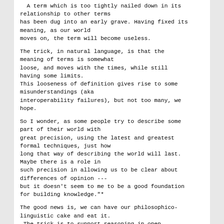A term which is too tightly nailed down in its relationship to other terms
has been dug into an early grave. Having fixed its meaning, as our world
moves on, the term will become useless.
The trick, in natural language, is that the meaning of terms is somewhat
loose, and moves with the times, while still having some limits.
This looseness of definition gives rise to some misunderstandings (aka
interoperability failures), but not too many, we hope.
So I wonder, as some people try to describe some part of their world with
great precision, using the latest and greatest formal techniques, just how
long that way of describing the world will last. Maybe there is a role in
such precision in allowing us to be clear about differences of opinion ---
but it doesn't seem to me to be a good foundation for building knowledge."*
The good news is, we can have our philosophico-linguistic cake and eat it.
 The trick is to support reasoning in open vocabulary, executable English...